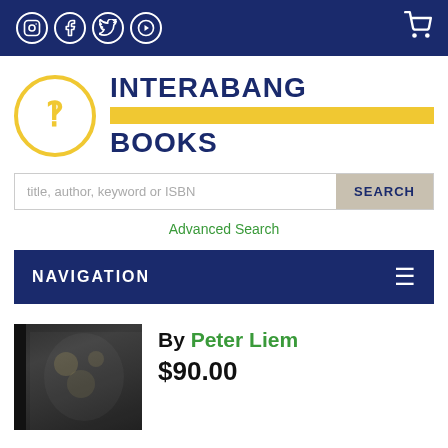Social icons: Instagram, Facebook, Twitter, YouTube | Cart icon
[Figure (logo): Interabang Books logo — circular yellow logo mark with interrobang symbol, text INTERABANG BOOKS in dark navy with yellow bar between words]
title, author, keyword or ISBN | SEARCH
Advanced Search
NAVIGATION
By Peter Liem
$90.00